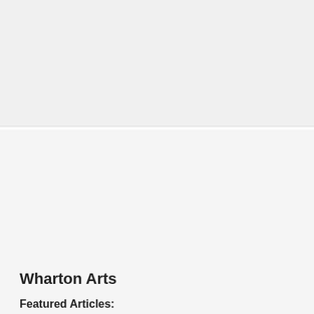[Figure (other): Gray placeholder/advertisement area at the top of the page]
Wharton Arts
Featured Articles:
50 lb weight loss
are pretzels good for weight loss
did lily collins lose weight for to the bone
quickest weight loss pill